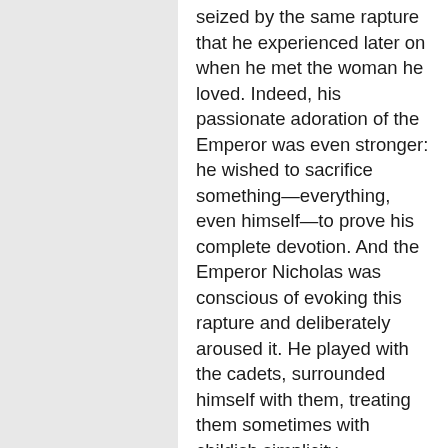seized by the same rapture that he experienced later on when he met the woman he loved. Indeed, his passionate adoration of the Emperor was even stronger: he wished to sacrifice something—everything, even himself—to prove his complete devotion. And the Emperor Nicholas was conscious of evoking this rapture and deliberately aroused it. He played with the cadets, surrounded himself with them, treating them sometimes with childish simplicity, sometimes as a friend, and then again with majestic solemnity. After that affair with the officer, Nicholas Pavlovich said nothing to Kasatsky, but when the latter approached he waved him away theatrically, frowned, shook his finger at him, and afterwards when leaving, said: 'Remember that I know…'